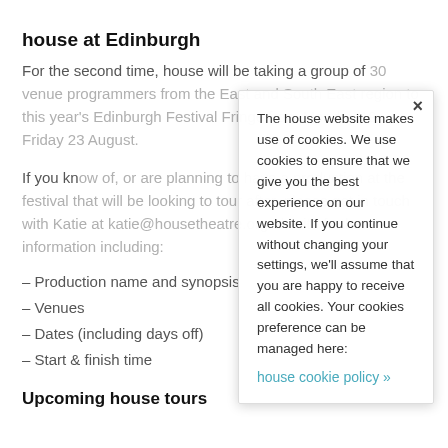house at Edinburgh
For the second time, house will be taking a group of 30 venue programmers from the East and South East region to this year's Edinburgh Festival Fringe from Monday 19 – Friday 23 August.
If you know of, or are planning to have a production at the festival that will be looking to tour after, please get in touch with Katie at katie@housetheatre.org.uk with further information including:
– Production name and synopsis
– Venues
– Dates (including days off)
– Start & finish time
Upcoming house tours
[Figure (other): Cookie consent modal overlay. Text reads: 'The house website makes use of cookies. We use cookies to ensure that we give you the best experience on our website. If you continue without changing your settings, we'll assume that you are happy to receive all cookies. Your cookies preference can be managed here: house cookie policy »'. Has an X close button in the top right corner.]